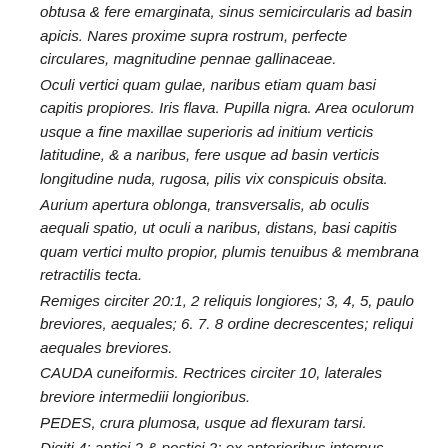obtusa & fere emarginata, sinus semicircularis ad basin apicis. Nares proxime supra rostrum, perfecte circulares, magnitudine pennae gallinaceae.
Oculi vertici quam gulae, naribus etiam quam basi capitis propiores. Iris flava. Pupilla nigra. Area oculorum usque a fine maxillae superioris ad initium verticis latitudine, & a naribus, fere usque ad basin verticis longitudine nuda, rugosa, pilis vix conspicuis obsita.
Aurium apertura oblonga, transversalis, ab oculis aequali spatio, ut oculi a naribus, distans, basi capitis quam vertici multo propior, plumis tenuibus & membrana retractilis tecta.
Remiges circiter 20:1, 2 reliquis longiores; 3, 4, 5, paulo breviores, aequales; 6. 7. 8 ordine decrescentes; reliqui aequales breviores.
CAUDA cuneiformis. Rectrices circiter 10, laterales breviore intermedii longioribus.
PEDES, crura plumosa, usque ad flexuram tarsi.
Digiti 4: antici 2 & postici 2; ex anterioribus internus exteriori tribus articulis brevior est posterioribus, interior exteriori